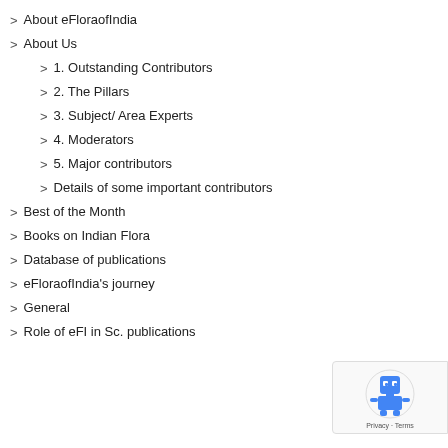About eFloraofIndia
About Us
1. Outstanding Contributors
2. The Pillars
3. Subject/ Area Experts
4. Moderators
5. Major contributors
Details of some important contributors
Best of the Month
Books on Indian Flora
Database of publications
eFloraofIndia's journey
General
Role of eFI in Sc. publications
[Figure (logo): Google reCAPTCHA badge with robot icon and Privacy/Terms text]